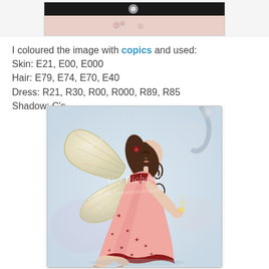[Figure (photo): Top portion of a crafting card image, partially visible, showing decorative elements with dark and light tones and a blog watermark in the top right corner.]
I coloured the image with copics and used:
Skin: E21, E00, E000
Hair: E79, E74, E70, E40
Dress: R21, R30, R00, R000, R89, R85
Shadow: C's
[Figure (illustration): A coloured fairy illustration — a kneeling fairy with large cream/golden glittery wings, dark brown wavy hair with a flower accessory, wearing a pink and deep red star-patterned dress, holding a small glowing star in her outstretched hands. Watermark text visible in the centre of the image.]